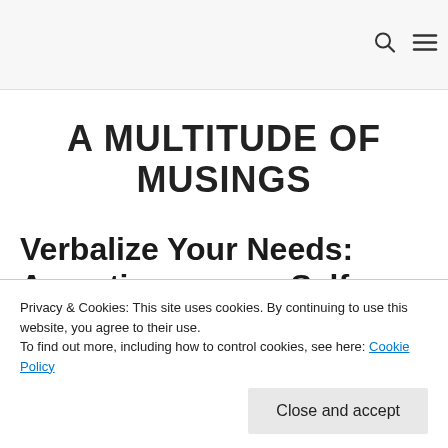A MULTITUDE OF MUSINGS
Verbalize Your Needs: Assertiveness as Self-
Privacy & Cookies: This site uses cookies. By continuing to use this website, you agree to their use.
To find out more, including how to control cookies, see here: Cookie Policy
Close and accept